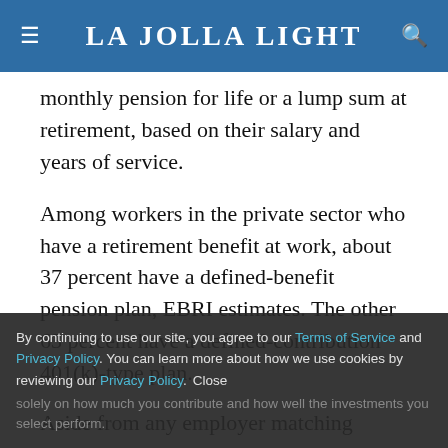La Jolla Light
monthly pension for life or a lump sum at retirement, based on their salary and years of service.
Among workers in the private sector who have a retirement benefit at work, about 37 percent have a defined-benefit pension plan, EBRI estimates. The other 63 percent have a defined-contribution 401(k)-type plan.
Aside from any employer matching contributions, how much you get at retirement under such plan depends solely on how much you contribute and how well the investments you select perform.
By continuing to use our site, you agree to our Terms of Service and Privacy Policy. You can learn more about how we use cookies by reviewing our Privacy Policy. Close